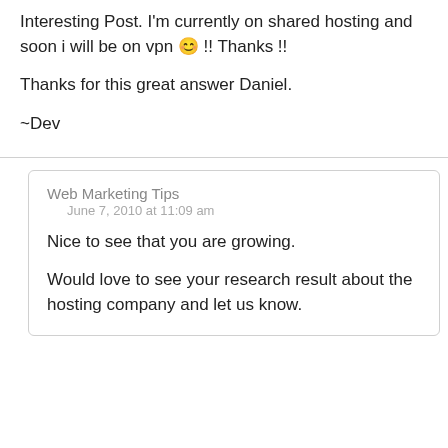Interesting Post. I'm currently on shared hosting and soon i will be on vpn  !! Thanks !!
Thanks for this great answer Daniel.
~Dev
Web Marketing Tips
June 7, 2010 at 11:09 am
Nice to see that you are growing.
Would love to see your research result about the hosting company and let us know.